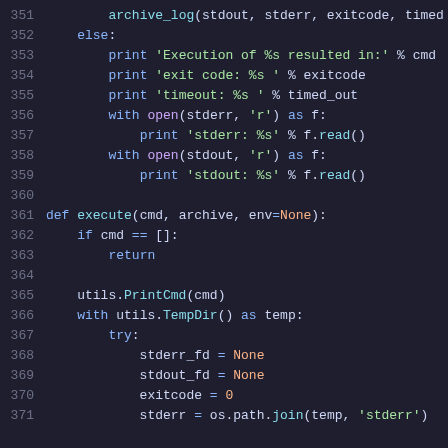[Figure (screenshot): Python source code snippet showing lines 351-371 with syntax highlighting on a dark background. Keywords in blue, strings in green, numbers/constants in orange, function calls in cyan.]